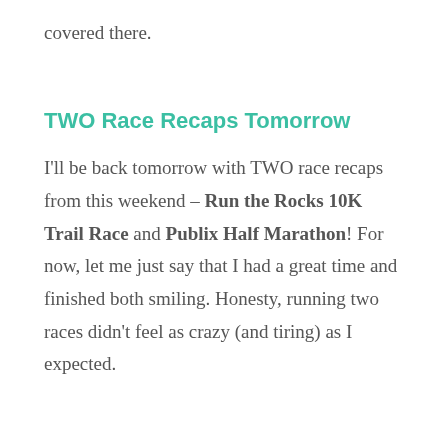covered there.
TWO Race Recaps Tomorrow
I'll be back tomorrow with TWO race recaps from this weekend – Run the Rocks 10K Trail Race and Publix Half Marathon! For now, let me just say that I had a great time and finished both smiling. Honesty, running two races didn't feel as crazy (and tiring) as I expected.